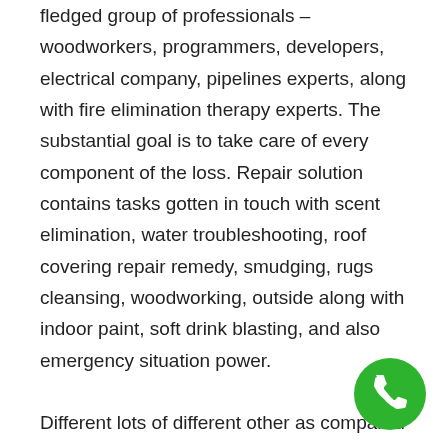fledged group of professionals – woodworkers, programmers, developers, electrical company, pipelines experts, along with fire elimination therapy experts. The substantial goal is to take care of every component of the loss. Repair solution contains tasks gotten in touch with scent elimination, water troubleshooting, roof covering repair remedy, smudging, rugs cleansing, woodworking, outside along with indoor paint, soft drink blasting, and also emergency situation power.

Different lots of different other as compared with fix works, service in addition concentrates on carpeting cleansing by a group of professionals. Organisation focuses on deep rugs cleansing along with taint elimination, house pet smell elimination, in addition to problems his sense also and the
[Figure (other): Green circular phone icon (call button) in the bottom right corner]